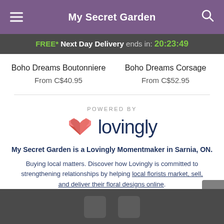My Secret Garden
FREE* Next Day Delivery ends in: 20:23:49
Boho Dreams Boutonniere
From C$40.95
Boho Dreams Corsage
From C$52.95
[Figure (logo): Lovingly logo with heart icon and text 'lovingly' in dark navy, with 'POWERED BY' label above]
My Secret Garden is a Lovingly Momentmaker in Sarnia, ON.
Buying local matters. Discover how Lovingly is committed to strengthening relationships by helping local florists market, sell, and deliver their floral designs online.